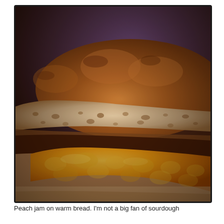[Figure (photo): Close-up photo of a slice of rustic sourdough bread topped with bright orange peach jam, with the top half of the bread loaf visible behind it, placed on a wooden cutting board. The image has a warm, vintage Instagram-style filter.]
Peach jam on warm bread. I'm not a big fan of sourdough